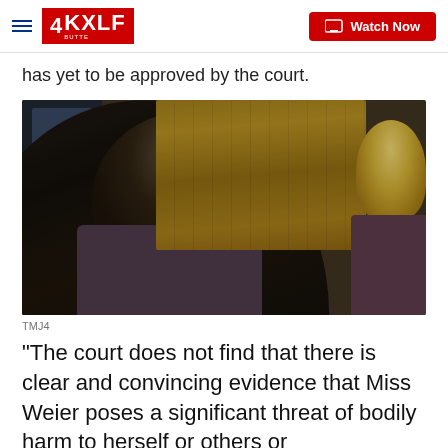4KXLF | Watch Now
has yet to be approved by the court.
[Figure (photo): A woman with dark hair seen from behind, sitting in a courtroom chair. Another person with blonde hair is partially visible on the right. Wooden court furniture visible in the background.]
TMJ4
"The court does not find that there is clear and convincing evidence that Miss Weier poses a significant threat of bodily harm to herself or others or